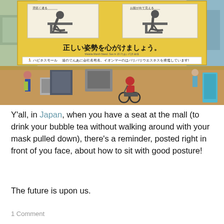[Figure (photo): Photo of a Japanese mall interior. A yellow informational sign in the foreground shows posture diagrams with Japanese text reading '正しい姿勢を心がけましょう。' (Let's be mindful of good posture). The background shows mall shoppers, store displays, and a person in a wheelchair or mobility scooter.]
Y'all, in Japan, when you have a seat at the mall (to drink your bubble tea without walking around with your mask pulled down), there's a reminder, posted right in front of you face, about how to sit with good posture!
The future is upon us.
1 Comment